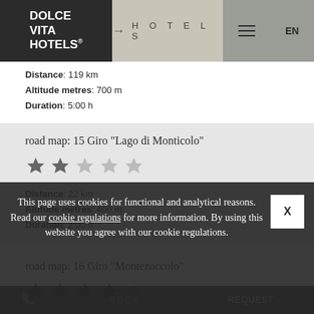DOLCE VITA HOTELS | HOTELS | EN
Distance: 119 km
Altitude metres: 700 m
Duration: 5:00 h
road map: 15 Giro "Lago di Monticolo"
Distance: 22 km
Altitude metres: 400 m
Duration: 2:00 h
road map: 16 Giro "Montezoccolo"
Distance: 95 km
Altitude metres: 1800 m
Duration: 5:00 h
This page uses cookies for functional and analytical reasons. Read our cookie regulations for more information. By using this website you agree with our cookie regulations.